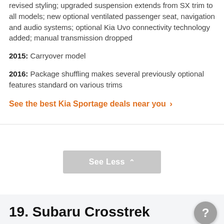revised styling; upgraded suspension extends from SX trim to all models; new optional ventilated passenger seat, navigation and audio systems; optional Kia Uvo connectivity technology added; manual transmission dropped
2015: Carryover model
2016: Package shuffling makes several previously optional features standard on various trims
See the best Kia Sportage deals near you ›
See Less
19. Subaru Crosstrek